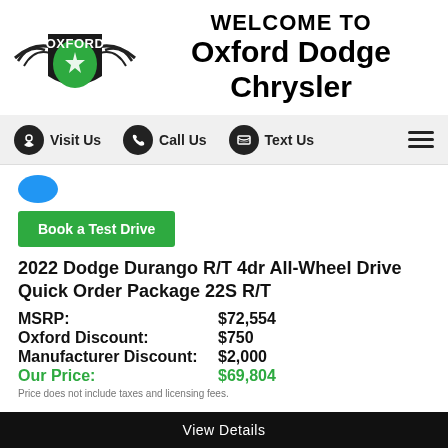[Figure (logo): Oxford Dodge Chrysler shield logo with wings]
WELCOME TO Oxford Dodge Chrysler
[Figure (infographic): Navigation bar with Visit Us, Call Us, Text Us icons and hamburger menu]
[Figure (other): Partially visible blue circle element]
Book a Test Drive
2022 Dodge Durango R/T 4dr All-Wheel Drive Quick Order Package 22S R/T
| Label | Price |
| --- | --- |
| MSRP: | $72,554 |
| Oxford Discount: | $750 |
| Manufacturer Discount: | $2,000 |
| Our Price: | $69,804 |
Price does not include taxes and licensing fees.
View Details